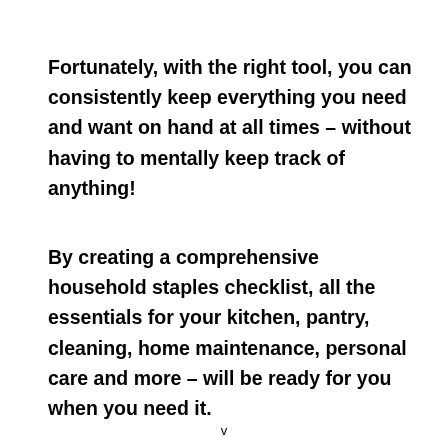Fortunately, with the right tool, you can consistently keep everything you need and want on hand at all times – without having to mentally keep track of anything!
By creating a comprehensive household staples checklist, all the essentials for your kitchen, pantry, cleaning, home maintenance, personal care and more – will be ready for you when you need it.
v